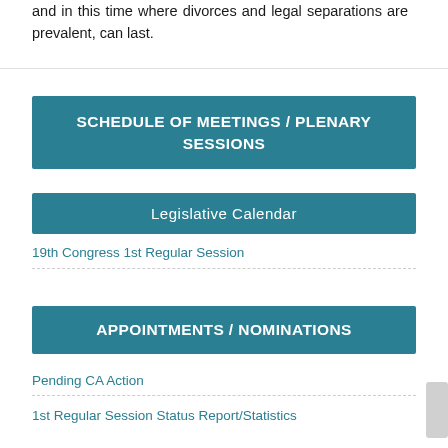and in this time where divorces and legal separations are prevalent, can last.
SCHEDULE OF MEETINGS / PLENARY SESSIONS
Legislative Calendar
19th Congress 1st Regular Session
APPOINTMENTS / NOMINATIONS
Pending CA Action
1st Regular Session Status Report/Statistics